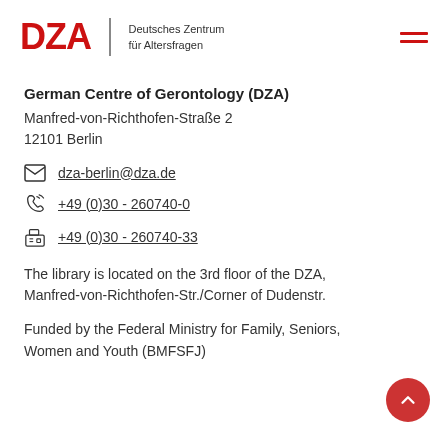DZA | Deutsches Zentrum für Altersfragen
German Centre of Gerontology (DZA)
Manfred-von-Richthofen-Straße 2
12101 Berlin
dza-berlin@dza.de
+49 (0)30 - 260740-0
+49 (0)30 - 260740-33
The library is located on the 3rd floor of the DZA, Manfred-von-Richthofen-Str./Corner of Dudenstr.
Funded by the Federal Ministry for Family, Seniors, Women and Youth (BMFSFJ)